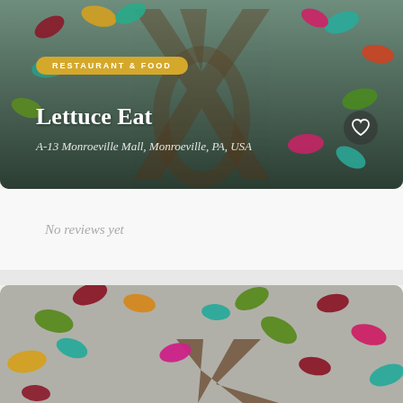[Figure (screenshot): Restaurant listing card for 'Lettuce Eat' with colorful leaf logo on dark background, showing category tag 'RESTAURANT & FOOD', business name, address, and heart/favorite button]
No reviews yet
[Figure (screenshot): Second restaurant listing card showing colorful leaf tree logo on gray background, partially visible (cropped)]